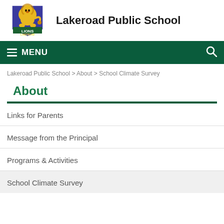[Figure (logo): Lakeroad Lions school logo — a gold lion on a blue/purple shield with 'LIONS' and 'LAKEROAD' text]
Lakeroad Public School
MENU | search icon
Lakeroad Public School > About > School Climate Survey
About
Links for Parents
Message from the Principal
Programs & Activities
School Climate Survey